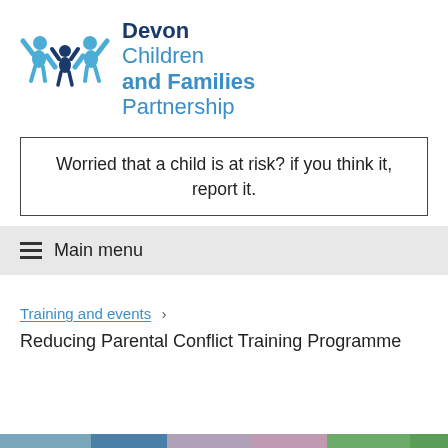[Figure (logo): Devon Children and Families Partnership logo — three stylized blue human figures with arms raised, alongside the organization name in dark navy and light blue text]
Worried that a child is at risk? if you think it, report it.
≡  Main menu
Training and events  >
Reducing Parental Conflict Training Programme